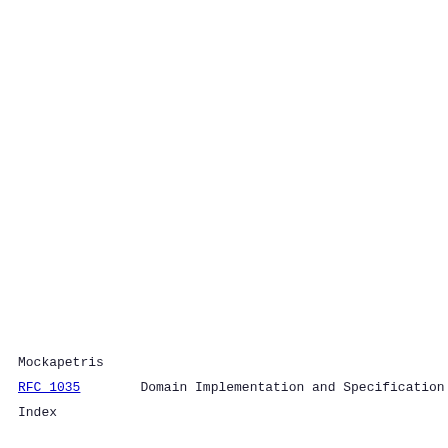Mockapetris
RFC 1035    Domain Implementation and Specification
Index